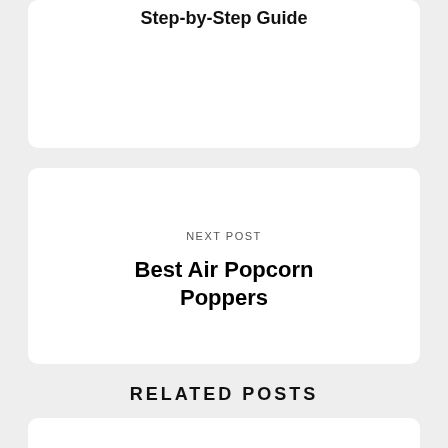Step-by-Step Guide
NEXT POST
Best Air Popcorn Poppers
RELATED POSTS